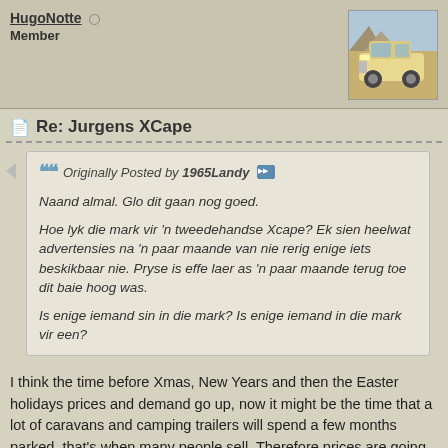HugoNotte ○
Member
Re: Jurgens XCape
Originally Posted by 1965Landy
Naand almal. Glo dit gaan nog goed.

Hoe lyk die mark vir 'n tweedehandse Xcape? Ek sien heelwat advertensies na 'n paar maande van nie rerig enige iets beskikbaar nie. Pryse is effe laer as 'n paar maande terug toe dit baie hoog was.

Is enige iemand sin in die mark? Is enige iemand in die mark vir een?
I think the time before Xmas, New Years and then the Easter holidays prices and demand go up, now it might be the time that a lot of caravans and camping trailers will spend a few months parked, that's when many people sell. Therefore prices are going down, more choice in the market and fewer people looking to buy. If you can, wait until the prices go up again towards the end of the year, if you want to sell.